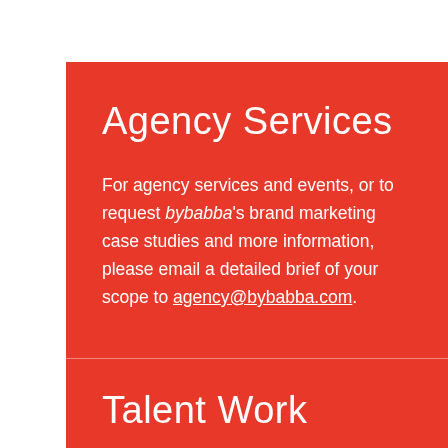Agency Services
For agency services and events, or to request bybabba's brand marketing case studies and more information, please email a detailed brief of your scope to agency@bybabba.com.
Talent Work
If you would like to inquire about